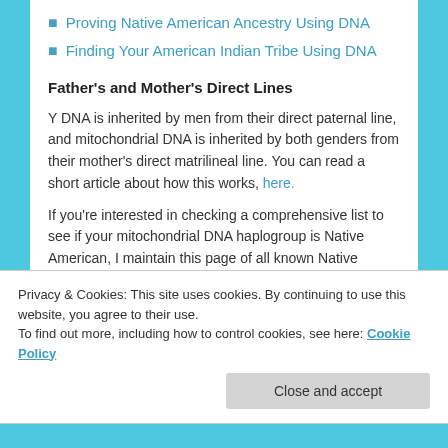Proving Native American Ancestry Using DNA
Finding Your American Indian Tribe Using DNA
Father's and Mother's Direct Lines
Y DNA is inherited by men from their direct paternal line, and mitochondrial DNA is inherited by both genders from their mother's direct matrilineal line. You can read a short article about how this works, here.
If you're interested in checking a comprehensive list to see if your mitochondrial DNA haplogroup is Native American, I maintain this page of all known Native
Privacy & Cookies: This site uses cookies. By continuing to use this website, you agree to their use.
To find out more, including how to control cookies, see here: Cookie Policy